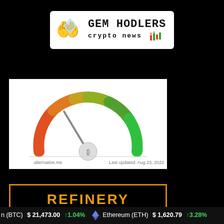[Figure (logo): Gem Hodlers Crypto News logo with diamond hands icon and trading candle graphics]
[Figure (other): Hamburger menu icon (three horizontal lines)]
[Figure (other): Bitcoin Fear and Greed Index gauge meter showing needle pointing left of center (fear zone), with orange-to-green gradient arc. Source: alternative.me. Last updated: Aug 23, 2022]
alternative.me               Last updated: Aug 23, 2022
REFINERY
(BTC) $ 21,473.00 ↑1.04%   Ethereum (ETH) $ 1,620.79 ↑3.28%